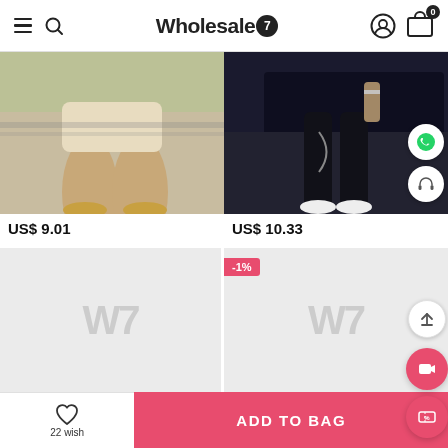Wholesale7
[Figure (photo): Woman wearing beige/nude shorts and gold sneakers, outdoor background]
[Figure (photo): Woman wearing black jogger pants with chain accessories and black sneakers]
US$ 9.01
US$ 10.33
[Figure (photo): Loading placeholder with Wholesale7 watermark]
[Figure (photo): Loading placeholder with -10% discount badge and Wholesale7 watermark]
22 wish
ADD TO BAG